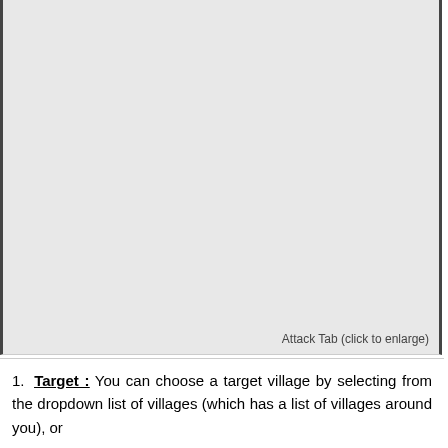[Figure (screenshot): Screenshot of an Attack Tab interface (shown as a gray placeholder area)]
Attack Tab (click to enlarge)
Target : You can choose a target village by selecting from the dropdown list of villages (which has a list of villages around you), or